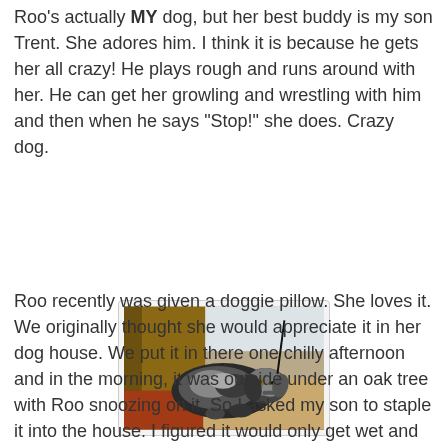Roo's actually MY dog, but her best buddy is my son Trent. She adores him. I think it is because he gets her all crazy! He plays rough and runs around with her. He can get her growling and wrestling with him and then when he says "Stop!" she does. Crazy dog.
[Figure (photo): A merle Australian Shepherd dog lying on a red patterned rug and tan doggie pillow near a wooden wall and white door frame.]
Roo recently was given a doggie pillow. She loves it. We originally thought she would appreciate it in her dog house. We put it in there one chilly afternoon and in the morning, it was outside under an oak tree with Roo snoozing on it. So I asked my son to staple it into the house. I figured it would only get wet and nasty if it were allowed to be outside. So he